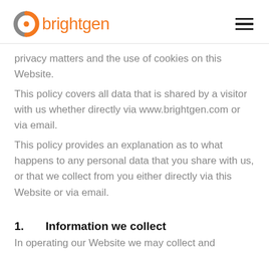brightgen
privacy matters and the use of cookies on this Website.
This policy covers all data that is shared by a visitor with us whether directly via www.brightgen.com or via email.
This policy provides an explanation as to what happens to any personal data that you share with us, or that we collect from you either directly via this Website or via email.
1.    Information we collect
In operating our Website we may collect and